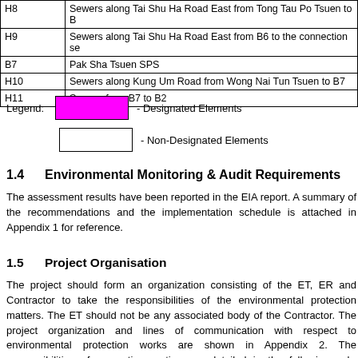| ID | Description |
| --- | --- |
| H8 | Sewers along Tai Shu Ha Road East from Tong Tau Po Tsuen to B |
| H9 | Sewers along Tai Shu Ha Road East from B6 to the connection se |
| B7 | Pak Sha Tsuen SPS |
| H10 | Sewers along Kung Um Road from Wong Nai Tun Tsuen to B7 |
| H11 | Sewers from B7 to B2 |
Legend:   - Designated Elements   - Non-Designated Elements
1.4   Environmental Monitoring & Audit Requirements
The assessment results have been reported in the EIA report. A summary of the recommendations and the implementation schedule is attached in Appendix 1 for reference.
1.5   Project Organisation
The project should form an organization consisting of the ET, ER and Contractor to take the responsibilities of the environmental protection matters. The ET should not be any associated body of the Contractor. The project organization and lines of communication with respect to environmental protection works are shown in Appendix 2. The responsibilities of respective parties are detailed in the following sub-sections.